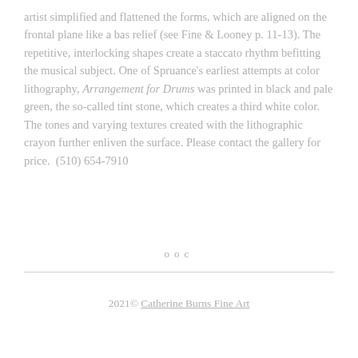artist simplified and flattened the forms, which are aligned on the frontal plane like a bas relief (see Fine & Looney p. 11-13). The repetitive, interlocking shapes create a staccato rhythm befitting the musical subject. One of Spruance's earliest attempts at color lithography, Arrangement for Drums was printed in black and pale green, the so-called tint stone, which creates a third white color. The tones and varying textures created with the lithographic crayon further enliven the surface. Please contact the gallery for price.  (510) 654-7910
ooc
2021© Catherine Burns Fine Art